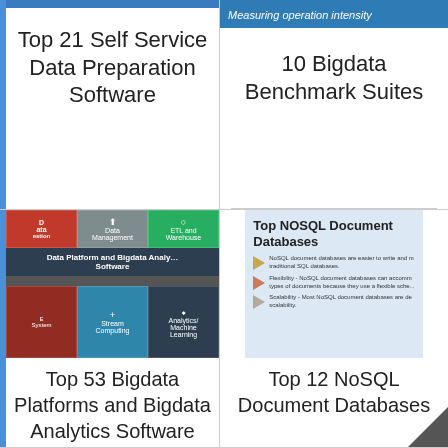[Figure (screenshot): Thumbnail with blue bar at top for Top 21 Self Service Data Preparation Software]
Top 21 Self Service Data Preparation Software
[Figure (screenshot): Thumbnail with teal header bar reading 'Measuring operation intensity' for 10 Bigdata Benchmark Suites]
10 Bigdata Benchmark Suites
[Figure (screenshot): Thumbnail showing Data Platform and Bigdata Analytics Software grid with colored cells]
Top 53 Bigdata Platforms and Bigdata Analytics Software
[Figure (screenshot): Thumbnail showing Top NOSQL Document Databases article preview]
Top 12 NoSQL Document Databases